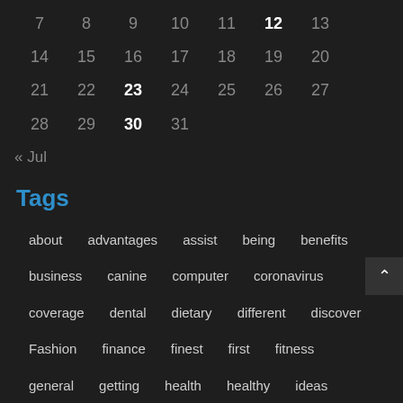| 7 | 8 | 9 | 10 | 11 | 12 | 13 |
| 14 | 15 | 16 | 17 | 18 | 19 | 20 |
| 21 | 22 | 23 | 24 | 25 | 26 | 27 |
| 28 | 29 | 30 | 31 |  |  |  |
« Jul
Tags
about
advantages
assist
being
benefits
business
canine
computer
coronavirus
coverage
dental
dietary
different
discover
Fashion
finance
finest
first
fitness
general
getting
health
healthy
ideas
improvement
information
insurance
issues
leisure
management
medical
menopause
other
products
really
savings
signs
stress
supplements
technology
therapy